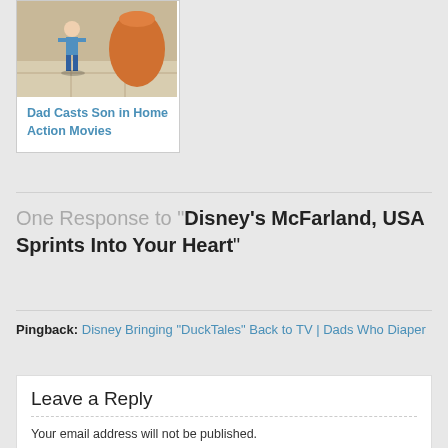[Figure (photo): Photo of a young child standing on tile floor near a large vase, wearing a blue shirt and jeans]
Dad Casts Son in Home Action Movies
One Response to "Disney's McFarland, USA Sprints Into Your Heart"
Pingback: Disney Bringing "DuckTales" Back to TV | Dads Who Diaper
Leave a Reply
Your email address will not be published.